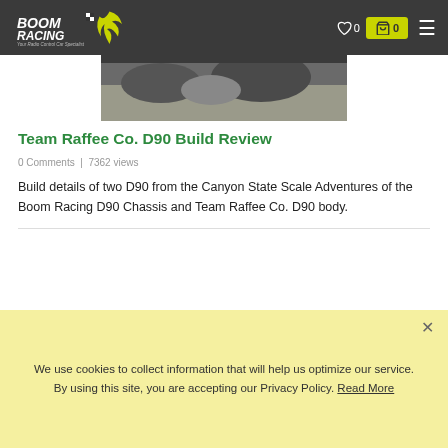BoomRacing - Your Radio Control Car Specialist
[Figure (photo): Partial top image of RC car on rocky terrain]
Team Raffee Co. D90 Build Review
0 Comments | 7362 views
Build details of two D90 from the Canyon State Scale Adventures of the Boom Racing D90 Chassis and Team Raffee Co. D90 body.
[Figure (photo): Partial bottom image of RC car chassis/wheels close-up]
We use cookies to collect information that will help us optimize our service. By using this site, you are accepting our Privacy Policy. Read More